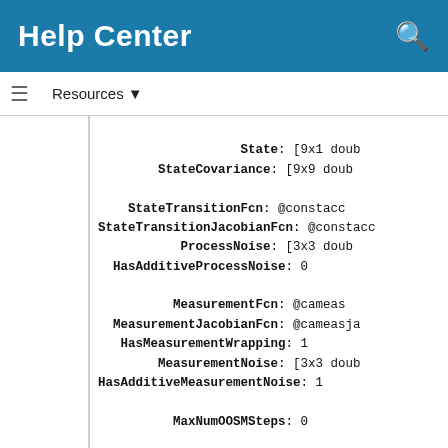Help Center
Resources ▼
State: [9x1 doub
StateCovariance: [9x9 doub
StateTransitionFcn: @constacc
StateTransitionJacobianFcn: @constacc
ProcessNoise: [3x3 doub
HasAdditiveProcessNoise: 0
MeasurementFcn: @cameas
MeasurementJacobianFcn: @cameasja
HasMeasurementWrapping: 1
MeasurementNoise: [3x3 doub
HasAdditiveMeasurementNoise: 1
MaxNumOOSMSteps: 0
EnableSmoothing: 0
Show the filter state...